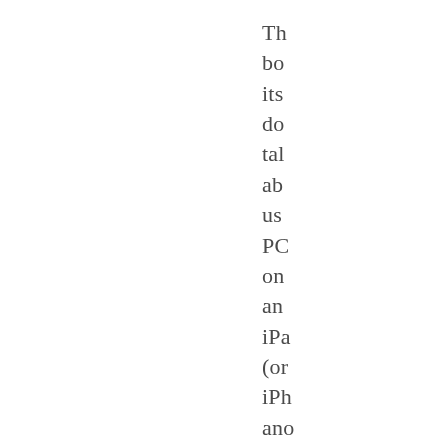Th
bo
its
do
tal
ab
us
PC
on
an
iPa
(or
iPh
ano
ins
it
foc
on